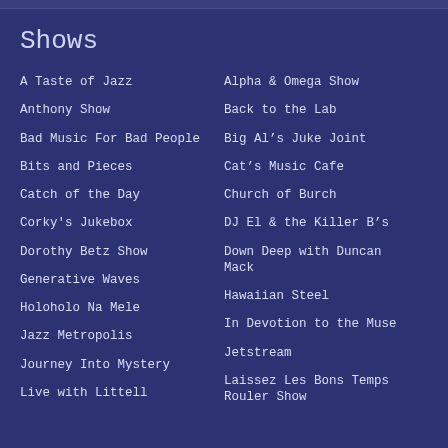Shows
A Taste of Jazz
Anthony Show
Bad Music For Bad People
Bits and Pieces
Catch of the Day
Corky's Jukebox
Dorothy Betz Show
Generative Waves
Holoholo Na Mele
Jazz Metropolis
Journey Into Mystery
Live with Littell
Alpha & Omega Show
Back to the Lab
Big Al's Juke Joint
Cat's Music Cafe
Church of Burch
DJ El & the Killer B's
Down Deep with Duncan Mack
Hawaiian Steel
In Devotion to the Muse
Jetstream
Laissez Les Bons Temps Rouler Show